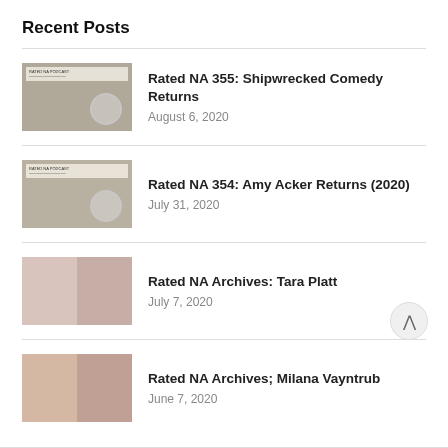Recent Posts
Rated NA 355: Shipwrecked Comedy Returns
August 6, 2020
Rated NA 354: Amy Acker Returns (2020)
July 31, 2020
Rated NA Archives: Tara Platt
July 7, 2020
Rated NA Archives; Milana Vayntrub
June 7, 2020